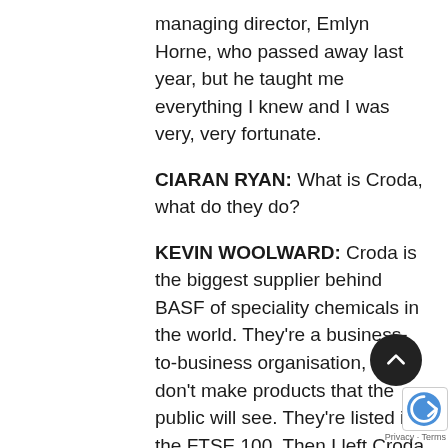managing director, Emlyn Horne, who passed away last year, but he taught me everything I knew and I was very, very fortunate.
CIARAN RYAN: What is Croda, what do they do?
KEVIN WOOLWARD: Croda is the biggest supplier behind BASF of speciality chemicals in the world. They're a business-to-business organisation, they don't make products that the public will see. They're listed in the FTSE 100. Then I left Croda after 20 years and I started my own businesses in partnership, in various guises. It started getting difficult, so I started looking for a job and I was fortunate